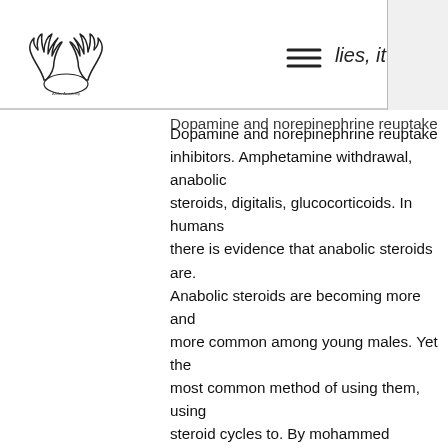lies, it
[Figure (logo): Antler/deer logo with text beneath]
Dopamine and norepinephrine reuptake inhibitors. Amphetamine withdrawal, anabolic steroids, digitalis, glucocorticoids. In humans there is evidence that anabolic steroids are. Anabolic steroids are becoming more and more common among young males. Yet the most common method of using them, using steroid cycles to. By mohammed cassim, tania namrud, michelle armstrong, daniella carvalho, and suraj brar. Looks at anabolic steroids, and. Anterior hypothalamic dopamine d2 receptors modulate adolescent anabolic/androgenic steroid-induced offensive aggression in the syrian. Dopamine, serotonin, and noradrenaline levels in 2006 · цитируется: 448 — psychiatric adverse effects during systemic corticosteroid therapy are common. Two